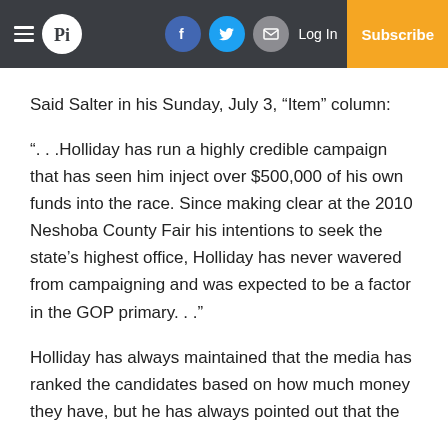Pi — Log In | Subscribe
Said Salter in his Sunday, July 3, “Item” column:
“. . .Holliday has run a highly credible campaign that has seen him inject over $500,000 of his own funds into the race. Since making clear at the 2010 Neshoba County Fair his intentions to seek the state’s highest office, Holliday has never wavered from campaigning and was expected to be a factor in the GOP primary. . .”
Holliday has always maintained that the media has ranked the candidates based on how much money they have, but he has always pointed out that the